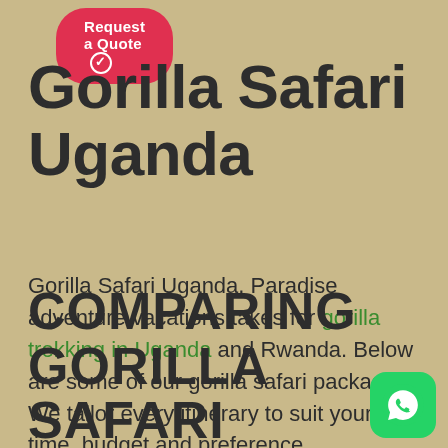[Figure (other): Red rounded button with 'Request a Quote' text and arrow icon]
Gorilla Safari Uganda
Gorilla Safari Uganda, Paradise adventure vacations takes for gorilla trekking in Uganda and Rwanda. Below are some of our gorilla safari packages. We tailor every itinerary to suit your time, budget and preference.
COMPARING GORILLA SAFARI
[Figure (other): WhatsApp green icon button in bottom right corner]